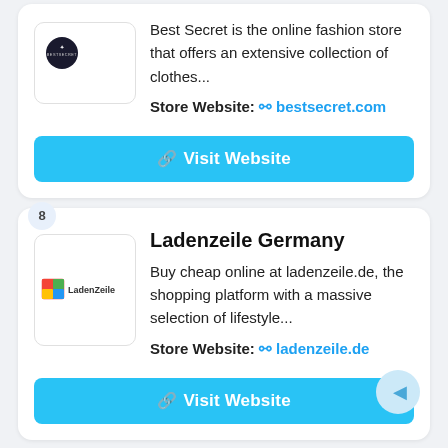[Figure (logo): Best Secret logo — dark circular icon with BESTSECRET text]
Best Secret is the online fashion store that offers an extensive collection of clothes...
Store Website: 🔗 bestsecret.com
Visit Website
8
[Figure (logo): LadenZeile logo — colorful shopping bag icon with LadenZeile text]
Ladenzeile Germany
Buy cheap online at ladenzeile.de, the shopping platform with a massive selection of lifestyle...
Store Website: 🔗 ladenzeile.de
Visit Website